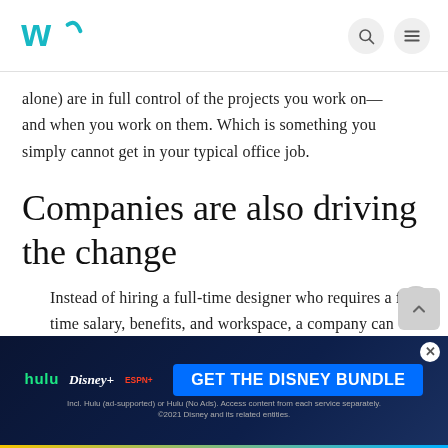Wethos logo, search icon, menu icon
alone) are in full control of the projects you work on—and when you work on them. Which is something you simply cannot get in your typical office job.
Companies are also driving the change
Instead of hiring a full-time designer who requires a full-time salary, benefits, and workspace, a company can bring in a contract designer.
[Figure (infographic): Disney Bundle advertisement banner with Hulu, Disney+, ESPN+ logos and GET THE DISNEY BUNDLE call to action button]